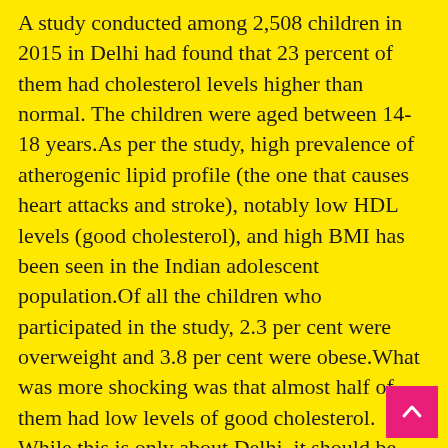A study conducted among 2,508 children in 2015 in Delhi had found that 23 percent of them had cholesterol levels higher than normal. The children were aged between 14-18 years.As per the study, high prevalence of atherogenic lipid profile (the one that causes heart attacks and stroke), notably low HDL levels (good cholesterol), and high BMI has been seen in the Indian adolescent population.Of all the children who participated in the study, 2.3 per cent were overweight and 3.8 per cent were obese.What was more shocking was that almost half of them had low levels of good cholesterol. While this is only about Delhi, it should be dealt with taking the entire country's youth into consideration.Recent studies have reported that high cholesterol is present in 25-30% of urban and 15-20% rural s...